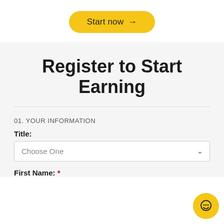[Figure (other): Yellow pill-shaped 'Start now →' button on white background]
Register to Start Earning
01. YOUR INFORMATION
Title:
Choose One (dropdown)
First Name: *